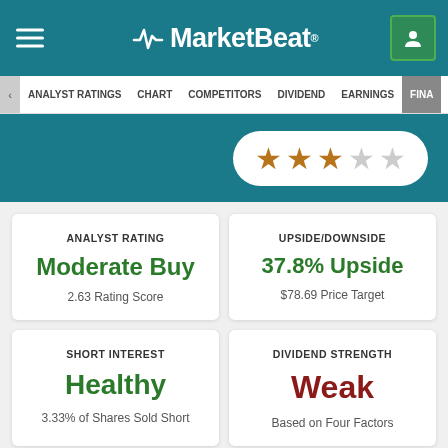MarketBeat
ANALYST RATINGS | CHART | COMPETITORS | DIVIDEND | EARNINGS | FINA...
[Figure (infographic): 3-out-of-5 star rating displayed in a white pill-shaped badge on teal background]
ANALYST RATING
Moderate Buy
2.63 Rating Score
UPSIDE/DOWNSIDE
37.8% Upside
$78.69 Price Target
SHORT INTEREST
Healthy
3.33% of Shares Sold Short
DIVIDEND STRENGTH
Weak
Based on Four Factors